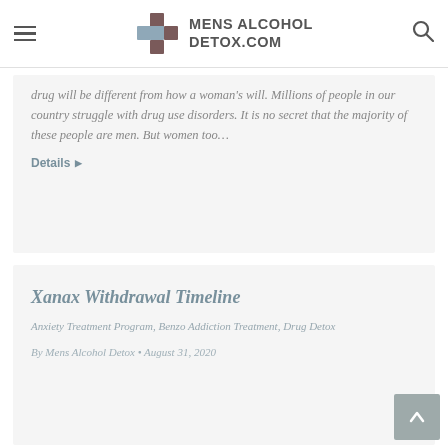MENS ALCOHOL DETOX.COM
drug will be different from how a woman's will. Millions of people in our country struggle with drug use disorders. It is no secret that the majority of these people are men. But women too…
Details
Xanax Withdrawal Timeline
Anxiety Treatment Program, Benzo Addiction Treatment, Drug Detox
By Mens Alcohol Detox • August 31, 2020